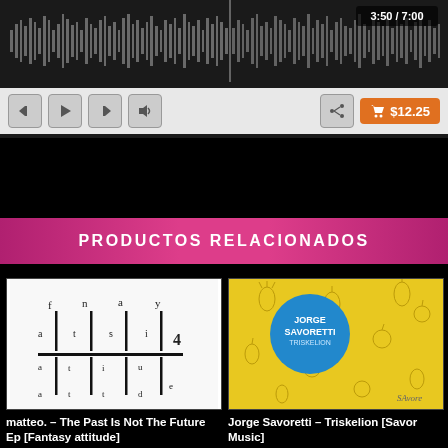[Figure (screenshot): Audio player bar with waveform visualization showing playback progress at 3:50/7:00, with transport controls (skip back, play, skip forward, volume), share button, and orange cart button showing $12.25]
PRODUCTOS RELACIONADOS
[Figure (photo): Album cover for matteo. – The Past Is Not The Future Ep [Fantasy attitude] showing typographic design with vertical bars and letters spelling 'fantasy attitude 4' on white background]
[Figure (photo): Album cover for Jorge Savoretti – Triskelion [Savor Music] showing yellow background with fruit pattern illustrations and blue circle with Jorge Savoretti text]
matteo. – The Past Is Not The Future Ep [Fantasy attitude]
Jorge Savoretti – Triskelion [Savor Music]